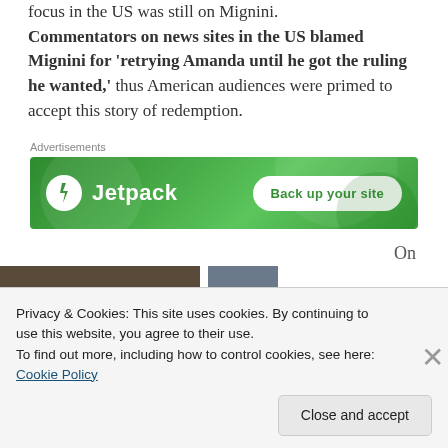focus in the US was still on Mignini. Commentators on news sites in the US blamed Mignini for 'retrying Amanda until he got the ruling he wanted,' thus American audiences were primed to accept this story of redemption.
[Figure (other): Jetpack advertisement banner with green background, Jetpack logo and lightning bolt icon on left, 'Back up your site' button on right]
On
[Figure (photo): Partial image strip showing two photographs partially visible at bottom of page]
Privacy & Cookies: This site uses cookies. By continuing to use this website, you agree to their use.
To find out more, including how to control cookies, see here: Cookie Policy